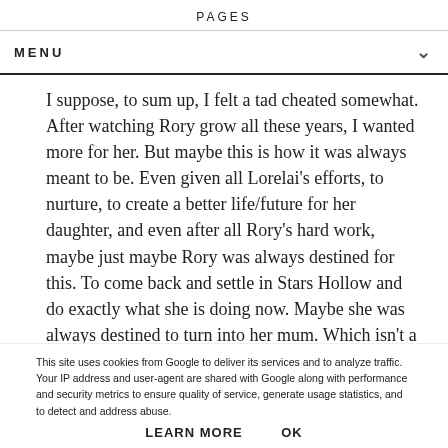PAGES
MENU
I suppose, to sum up, I felt a tad cheated somewhat. After watching Rory grow all these years, I wanted more for her. But maybe this is how it was always meant to be. Even given all Lorelai's efforts, to nurture, to create a better life/future for her daughter, and even after all Rory's hard work, maybe just maybe Rory was always destined for this. To come back and settle in Stars Hollow and do exactly what she is doing now. Maybe she was always destined to turn into her mum. Which isn't a bad thing I suppose. She is after all, a Gilmore Girl!
This site uses cookies from Google to deliver its services and to analyze traffic. Your IP address and user-agent are shared with Google along with performance and security metrics to ensure quality of service, generate usage statistics, and to detect and address abuse.
LEARN MORE    OK